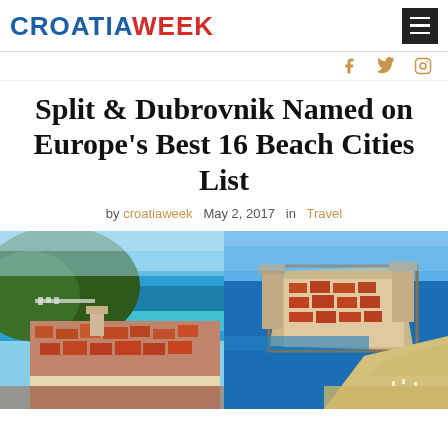CROATIAWEEK
Split & Dubrovnik Named on Europe's Best 16 Beach Cities List
by croatiaweek   May 2, 2017   in   Travel
[Figure (photo): Side-by-side aerial photos of Split (left) and Dubrovnik (right), Croatia — showing coastal cities with red-tiled rooftops, turquoise water, and old city walls]